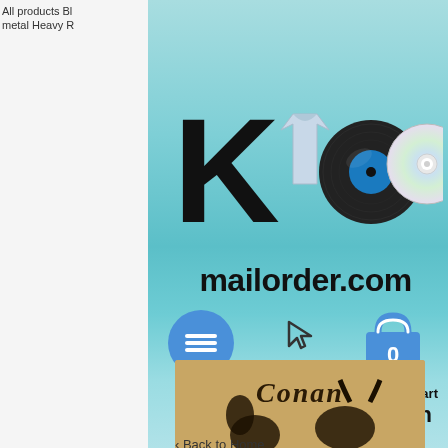All products Bl metal Heavy R
[Figure (logo): K100 mailorder.com logo with vinyl record, CD, and t-shirt graphics]
Menu
Shopping Cart
Relaunch Coming Soon
< Back to Home
[Figure (photo): Album cover showing 'Conan' text with barbarian and beast silhouette on aged parchment background]